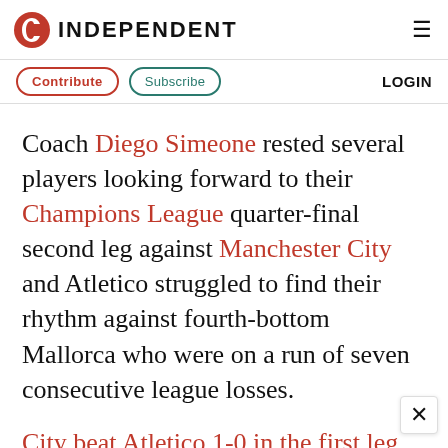INDEPENDENT
Contribute   Subscribe   LOGIN
Coach Diego Simeone rested several players looking forward to their Champions League quarter-final second leg against Manchester City and Atletico struggled to find their rhythm against fourth-bottom Mallorca who were on a run of seven consecutive league losses.
City beat Atletico 1-0 in the first leg, with the Spanish side criticised for their defensive